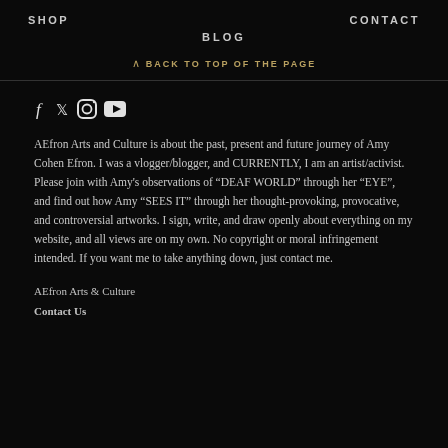SHOP   CONTACT
BLOG
^ BACK TO TOP OF THE PAGE
[Figure (other): Social media icons: Facebook (f), Twitter (bird), Instagram (circle), YouTube (play button)]
AEfron Arts and Culture is about the past, present and future journey of Amy Cohen Efron. I was a vlogger/blogger, and CURRENTLY, I am an artist/activist. Please join with Amy's observations of “DEAF WORLD” through her “EYE”, and find out how Amy “SEES IT” through her thought-provoking, provocative, and controversial artworks. I sign, write, and draw openly about everything on my website, and all views are on my own. No copyright or moral infringement intended. If you want me to take anything down, just contact me.
AEfron Arts & Culture
Contact Us